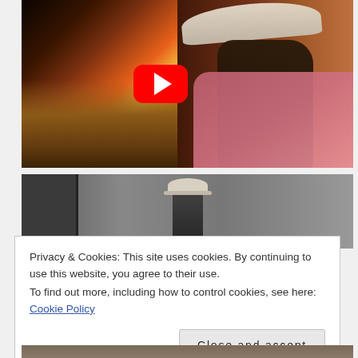[Figure (screenshot): YouTube video thumbnail showing a man wearing a white hat and pink shirt viewed from the side, with a sunset landscape background and golden dry grass. A red YouTube play button is centered on the image.]
[Figure (screenshot): Second video thumbnail showing a person wearing a white hat standing near a concrete building structure, in a dark gray urban setting.]
Privacy & Cookies: This site uses cookies. By continuing to use this website, you agree to their use.
To find out more, including how to control cookies, see here: Cookie Policy
Close and accept
[Figure (screenshot): Partial third video thumbnail visible at bottom of page.]